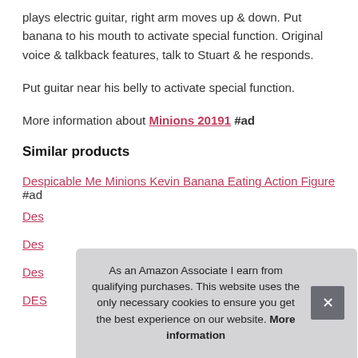plays electric guitar, right arm moves up & down. Put banana to his mouth to activate special function. Original voice & talkback features, talk to Stuart & he responds.
Put guitar near his belly to activate special function.
More information about Minions 20191 #ad
Similar products
Despicable Me Minions Kevin Banana Eating Action Figure #ad
Des...
Des...
Des...
DES...
As an Amazon Associate I earn from qualifying purchases. This website uses the only necessary cookies to ensure you get the best experience on our website. More information